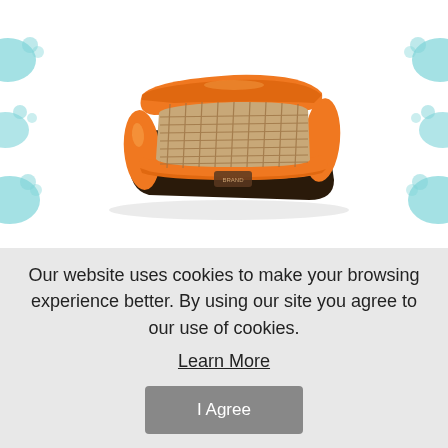[Figure (photo): Orange pet/dog bed with woven bamboo mat interior, padded orange bolster sides, rectangular shape with a small brown brand label on the front]
$42.64
ADD TO CART
Our website uses cookies to make your browsing experience better. By using our site you agree to our use of cookies.
Learn More
I Agree